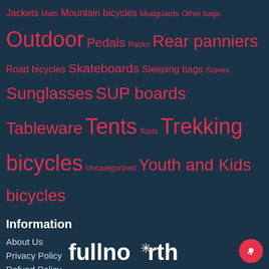Jackets Mats Mountain bicycles Mudguards Other bags Outdoor Pedals Racks Rear panniers Road bicycles Skateboards Sleeping bags Stoves Sunglasses SUP boards Tableware Tents Tools Trekking bicycles Uncategorized Youth and Kids bicycles
Information
About Us
Privacy Policy
Refund Policy
Terms & Conditions
Shipping and Delivery
Contact Us
[Figure (logo): fullnorth logo in white text with snowflake icon]